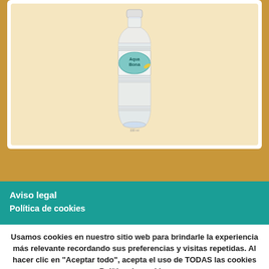[Figure (illustration): A water bottle (AquaBona brand) illustrated on a warm pale yellow/cream background, inside a white card area. The bottle has a transparent body with ribbed sections and a label in the middle showing 'AquaBona' branding.]
Aviso legal
Política de cookies
Usamos cookies en nuestro sitio web para brindarle la experiencia más relevante recordando sus preferencias y visitas repetidas. Al hacer clic en "Aceptar todo", acepta el uso de TODAS las cookies Política de cookies
Accept